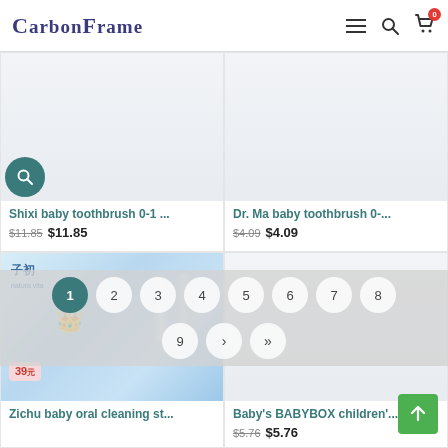CarbonFrame
[Figure (screenshot): Shixi baby toothbrush product card with light blue/gray product image area and search icon overlay]
Shixi baby toothbrush 0-1 ...
$11.85  $11.85
[Figure (screenshot): Dr. Ma baby toothbrush product card with light background image area]
Dr. Ma baby toothbrush 0-...
$4.09  $4.09
[Figure (photo): Zichu baby oral cleaning product image with blue/white packaging, Chinese text 子初 (natura vita), price tag showing 39]
Zichu baby oral cleaning st...
[Figure (screenshot): Baby's BABYBOX children's product card with light background]
Baby's BABYBOX children'...
$5.76  $5.76
1  2  3  4  5  6  7  8
9  >  >|